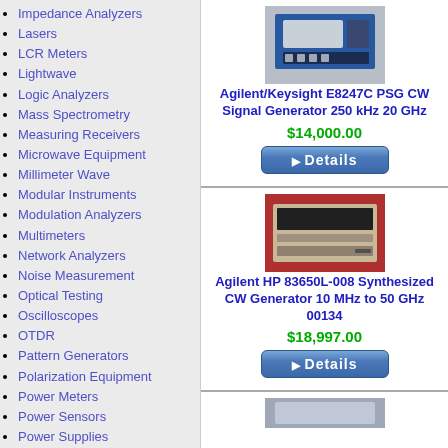Impedance Analyzers
Lasers
LCR Meters
Lightwave
Logic Analyzers
Mass Spectrometry
Measuring Receivers
Microwave Equipment
Millimeter Wave
Modular Instruments
Modulation Analyzers
Multimeters
Network Analyzers
Noise Measurement
Optical Testing
Oscilloscopes
OTDR
Pattern Generators
Polarization Equipment
Power Meters
Power Sensors
Power Supplies
Probes
Protocol Analyzers
Pulse Generators
Semiconductor Analyzers
Signal Analyzers
Signal Generators
Analog
CW
Digital
Microwave
[Figure (photo): Photo of Agilent/Keysight E8247C PSG CW Signal Generator on blue background]
Agilent/Keysight E8247C PSG CW Signal Generator 250 kHz 20 GHz
$14,000.00
[Figure (photo): Photo of Agilent HP 83650L-008 Synthesized CW Generator on red background]
Agilent HP 83650L-008 Synthesized CW Generator 10 MHz to 50 GHz 00134
$18,997.00